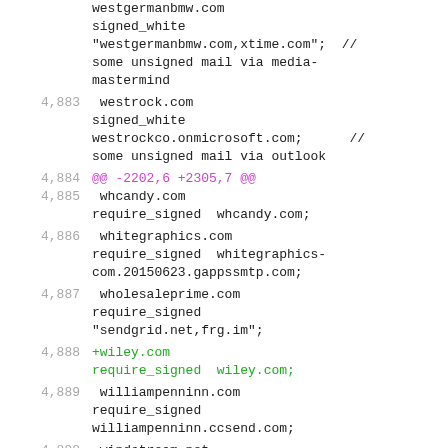4,882  westgermanbmw.com signed_white "westgermanbmw.com,xtime.com";  // some unsigned mail via media-mastermind
4,883  westrock.com signed_white westrockco.onmicrosoft.com;      // some unsigned mail via outlook
4,884  @@ -2202,6 +2305,7 @@
4,885   whcandy.com require_signed  whcandy.com;
4,886   whitegraphics.com require_signed  whitegraphics-com.20150623.gappssmtp.com;
4,887   wholesaleprime.com require_signed "sendgrid.net,frg.im";
4,888  +wiley.com require_signed  wiley.com;
4,889   williampenninn.com require_signed williampenninn.ccsend.com;
4,890   windstream.net require_signed caaonline.ccsend.com;
4,891   wineawesomeness.com require_signed wineawesomeness.com;
4,892  @@ -2237,12 +2341,14 @@
4,893   yipit.com